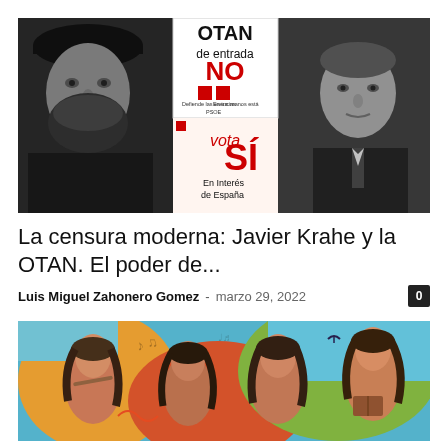[Figure (photo): Composite photo: left side shows a black-and-white photo of a bearded man with beret; center shows vintage Spanish political posters reading 'OTAN de entrada NO' (top) and 'vota SÍ En Interés de España' (bottom); right side shows a black-and-white photo of a younger clean-shaven man in a suit]
La censura moderna: Javier Krahe y la OTAN. El poder de...
Luis Miguel Zahonero Gomez - marzo 29, 2022
[Figure (illustration): Colorful painting/illustration of four women in a folk-art style with vibrant colors including turquoise, orange, red and green backgrounds]